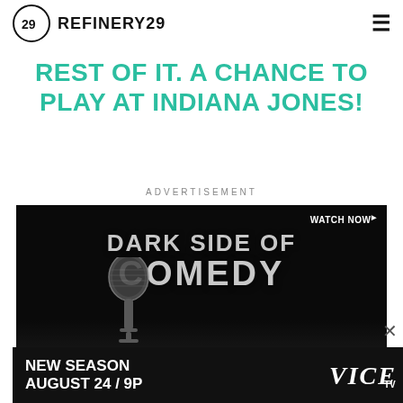REFINERY29
REST OF IT. A CHANCE TO PLAY AT INDIANA JONES!
ADVERTISEMENT
[Figure (screenshot): Dark Side of Comedy TV advertisement with microphone image. Text reads: WATCH NOW, DARK SIDE OF COMEDY, NEW SEASON AUGUST 24 / 9P, VICE TV]